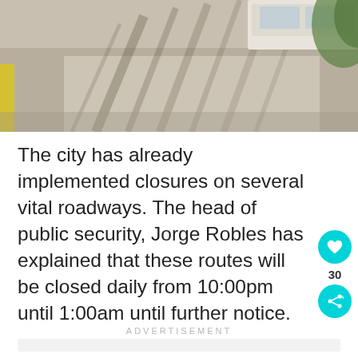[Figure (photo): Overhead/street view photo of a road with tree shadows, a yellow curb, and a white vehicle partially visible at the top]
The city has already implemented closures on several vital roadways. The head of public security, Jorge Robles has explained that these routes will be closed daily from 10:00pm until 1:00am until further notice.
ADVERTISEMENT